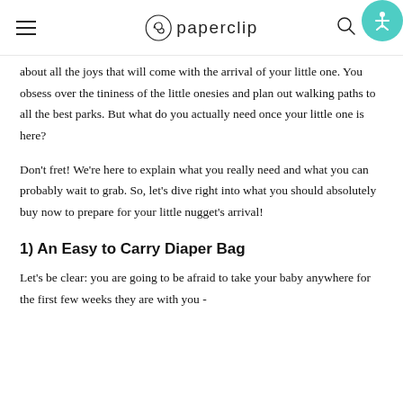paperclip
about all the joys that will come with the arrival of your little one. You obsess over the tininess of the little onesies and plan out walking paths to all the best parks. But what do you actually need once your little one is here?
Don't fret! We're here to explain what you really need and what you can probably wait to grab. So, let's dive right into what you should absolutely buy now to prepare for your little nugget's arrival!
1) An Easy to Carry Diaper Bag
Let's be clear: you are going to be afraid to take your baby anywhere for the first few weeks they are with you -